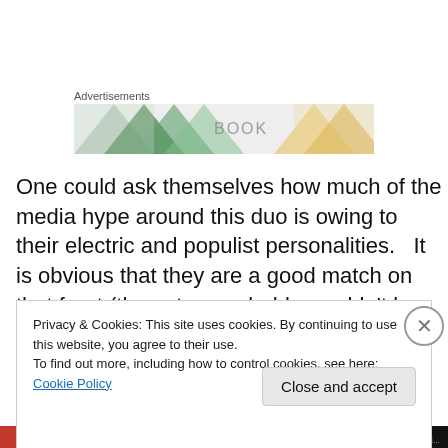Advertisements
[Figure (illustration): Advertisement banner with colorful geometric triangle patterns and the word BOOK visible]
One could ask themselves how much of the media hype around this duo is owing to their electric and populist personalities.   It is obvious that they are a good match on that front (these two probably wouldn't be dancing if their personalities didn't matcH).  I get the impression the public can't get enough of this duo owing to the fact that it is
Privacy & Cookies: This site uses cookies. By continuing to use this website, you agree to their use.
To find out more, including how to control cookies, see here: Cookie Policy
Close and accept